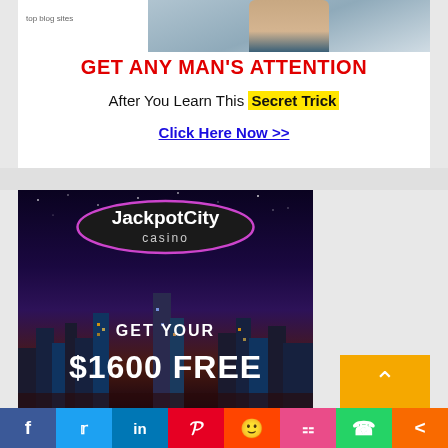top blog sites
[Figure (infographic): Advertisement banner: GET ANY MAN'S ATTENTION / After You Learn This Secret Trick / Click Here Now >>]
[Figure (infographic): JackpotCity Casino advertisement: GET YOUR $1600 FREE with city skyline background]
[Figure (infographic): Social share bar with Facebook, Twitter, LinkedIn, Pinterest, Reddit, Mix, WhatsApp, and share buttons]